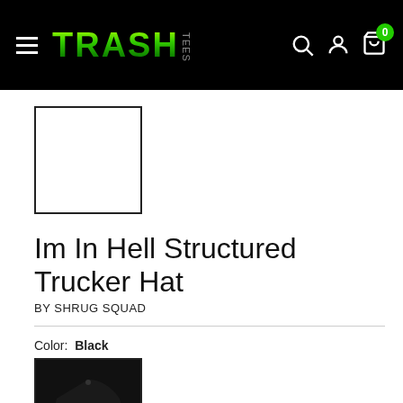TRASH TEES navigation bar with hamburger menu, logo, search, account, and cart icons
[Figure (other): Empty white product thumbnail image placeholder with black border]
Im In Hell Structured Trucker Hat
BY SHRUG SQUAD
Color: Black
[Figure (photo): Black trucker hat with small orange patch/logo on front, shown on black background thumbnail]